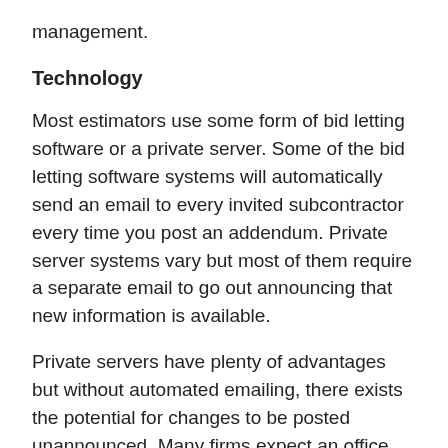management.
Technology
Most estimators use some form of bid letting software or a private server.  Some of the bid letting software systems will automatically send an email to every invited subcontractor every time you post an addendum.  Private server systems vary but most of them require a separate email to go out announcing that new information is available.
Private servers have plenty of advantages but without automated emailing, there exists the potential for changes to be posted unannounced.  Many firms expect an office administrator, intern, or secretary to handle bid communications.  Few estimators follow through to ensure